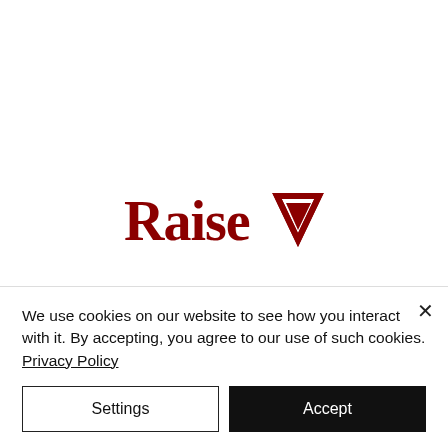[Figure (logo): RaiseV logo in dark red/crimson color. The word 'Raise' in serif font followed by a downward-pointing triangle/chevron 'V' shape.]
We use cookies on our website to see how you interact with it. By accepting, you agree to our use of such cookies. Privacy Policy
Settings
Accept